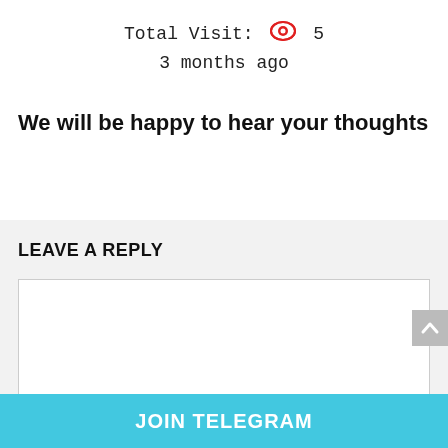Total Visit: 👁 5
3 months ago
We will be happy to hear your thoughts
LEAVE A REPLY
[Figure (other): Empty comment text area input box]
[Figure (other): Scroll to top button on right side]
JOIN TELEGRAM